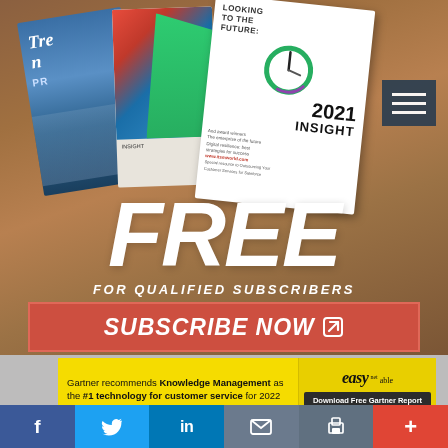[Figure (photo): Hero image showing magazine covers (including '2021 INSIGHT: Looking to the Future' and 'Trends') fanned out on a wooden table surface]
FREE
FOR QUALIFIED SUBSCRIBERS
SUBSCRIBE NOW ↗
[Figure (infographic): Advertisement banner with yellow background: 'Gartner recommends Knowledge Management as the #1 technology for customer service for 2022' with EasyKnowledge logo and 'Download Free Gartner Report' button]
Gartner recommends Knowledge Management as the #1 technology for customer service for 2022
f  🐦  in  ✉  🖨  +